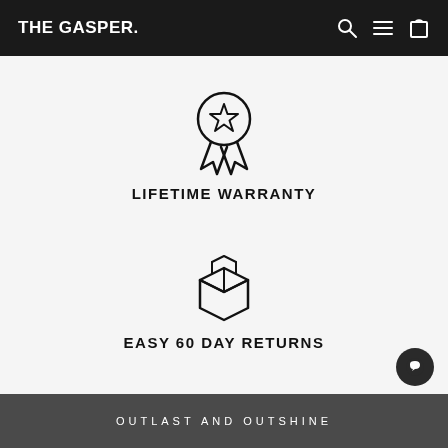THE GASPER.
[Figure (illustration): Award ribbon icon with a star in the center circle and two ribbon tails at the bottom]
LIFETIME WARRANTY
[Figure (illustration): Cardboard box / package icon representing shipping or returns]
EASY 60 DAY RETURNS
OUTLAST AND OUTSHINE